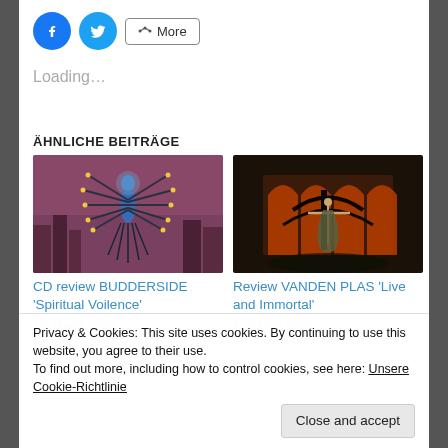[Figure (infographic): Social sharing buttons: Facebook (blue circle), Twitter (blue circle), and a More button with share icon]
Loading...
ÄHNLICHE BEITRÄGE
[Figure (illustration): CD cover art for BUDDERSIDE 'Spiritual Voilence' – dark fantasy creature with many arms against a purple/red city background]
CD review BUDDERSIDE 'Spiritual Voilence'
18. March 2021
[Figure (illustration): Album art for VANDEN PLAS 'Live and Immortal' – dark fantasy scene with a figure crucified on a tree, orange glowing arches in background]
Review VANDEN PLAS 'Live and Immortal'
6. August 2022
Privacy & Cookies: This site uses cookies. By continuing to use this website, you agree to their use.
To find out more, including how to control cookies, see here: Unsere Cookie-Richtlinie
Close and accept